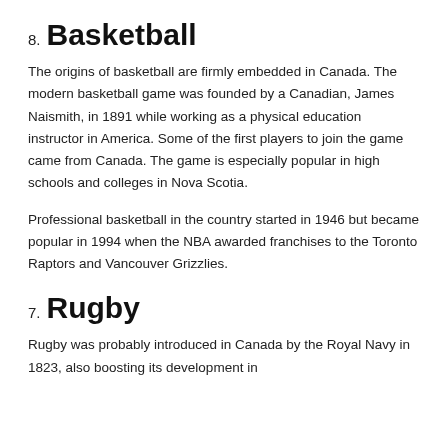8. Basketball
The origins of basketball are firmly embedded in Canada. The modern basketball game was founded by a Canadian, James Naismith, in 1891 while working as a physical education instructor in America. Some of the first players to join the game came from Canada. The game is especially popular in high schools and colleges in Nova Scotia.
Professional basketball in the country started in 1946 but became popular in 1994 when the NBA awarded franchises to the Toronto Raptors and Vancouver Grizzlies.
7. Rugby
Rugby was probably introduced in Canada by the Royal Navy in 1823, also boosting its development in